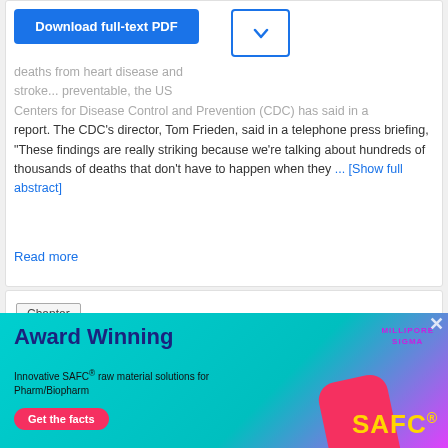...deaths from heart disease and stroke... preventable, the US Centers for Disease Control and Prevention (CDC) has said in a report. The CDC's director, Tom Frieden, said in a telephone press briefing, "These findings are really striking because we're talking about hundreds of thousands of deaths that don't have to happen when they ... [Show full abstract]
Read more
Chapter
[Figure (screenshot): Video thumbnail with play button for 'Three golden rules of successful STEM marketing' with teal/green text overlay on dark background with diamond pattern]
Three golden rules of successful STEM marketing
[Figure (infographic): Advertisement banner: 'Award Winning - Innovative SAFC raw material solutions for Pharm/Biopharm - Get the facts' with Millipore Sigma logo and SAFC branding on cyan/teal gradient background]